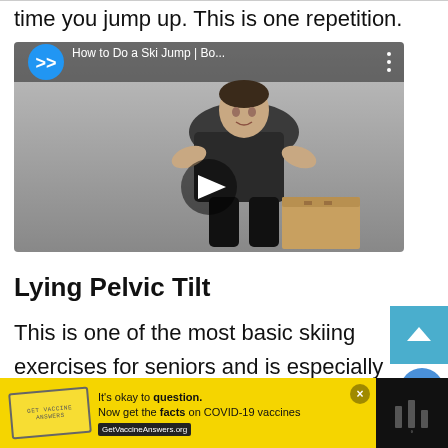time you jump up. This is one repetition.
[Figure (screenshot): YouTube video thumbnail showing a woman in athletic wear bending forward, with a wooden plyo box visible. Video title reads 'How to Do a Ski Jump | Bo...' with a play button overlay and howcast-style logo.]
Lying Pelvic Tilt
This is one of the most basic skiing exercises for seniors and is especially good for those who have lower back problems.
[Figure (other): COVID-19 vaccine advertisement banner with yellow background. Text: 'It’s okay to question. Now get the facts on COVID-19 vaccines GetVaccineAnswers.org']